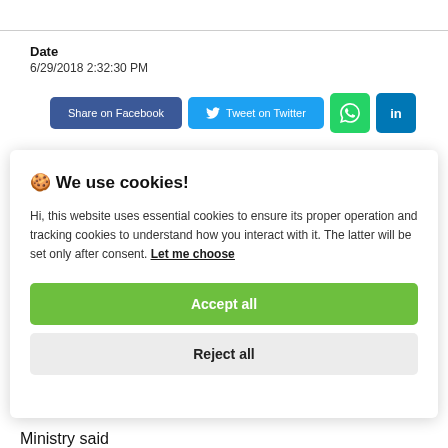Date
6/29/2018 2:32:30 PM
[Figure (screenshot): Social share buttons: Share on Facebook (blue), Tweet on Twitter (light blue with bird icon), WhatsApp (green), LinkedIn (dark blue)]
🍪 We use cookies!

Hi, this website uses essential cookies to ensure its proper operation and tracking cookies to understand how you interact with it. The latter will be set only after consent. Let me choose

Accept all

Reject all
Ministry said